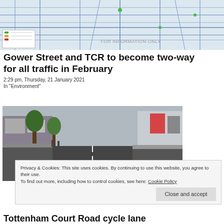[Figure (map): Street map showing road layout with blue lines on light background, with legend box bottom-left and 'FOR INFORMATION ONLY' label]
Gower Street and TCR to become two-way for all traffic in February
2:29 pm, Thursday, 21 January 2021
In "Environment"
[Figure (photo): Street-level photo of Tottenham Court Road cycle lane with two-way arrows painted on road surface, trees on left, shops in background]
Privacy & Cookies: This site uses cookies. By continuing to use this website, you agree to their use.
To find out more, including how to control cookies, see here: Cookie Policy
Tottenham Court Road cycle lane